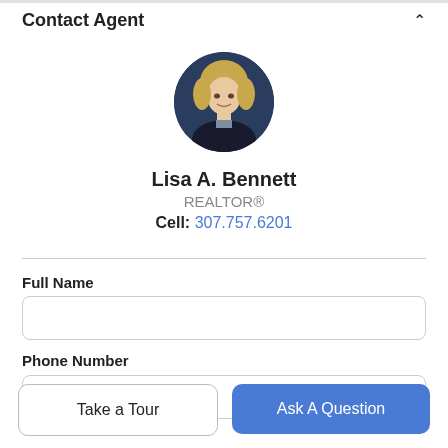Contact Agent
[Figure (photo): Circular headshot of Lisa A. Bennett, a woman with blonde hair, wearing a dark jacket, against a dark blue background.]
Lisa A. Bennett
REALTOR®
Cell: 307.757.6201
Full Name
Phone Number
Take a Tour
Ask A Question